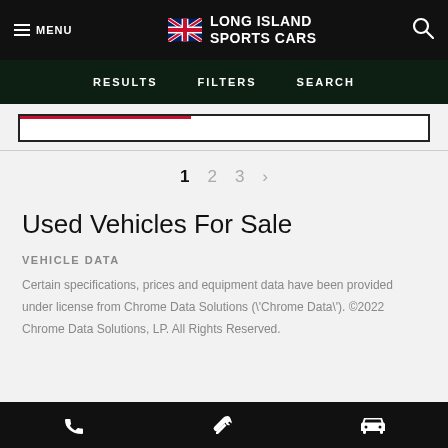MENU | LONG ISLAND SPORTS CARS | Search
RESULTS   FILTERS   SEARCH
Used Vehicles For Sale
VEHICLE DATA
Certain specifications, prices and equipment data have been provided under license from Chrome Data Solutions (\'Chrome Data\'). ©2022 Chrome Data Solutions, LP. All Rights Reserved.
Phone | Wrench | Car icons